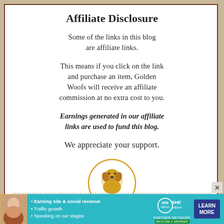Affiliate Disclosure
Some of the links in this blog are affiliate links.
This means if you click on the link and purchase an item, Golden Woofs will receive an affiliate commission at no extra cost to you.
Earnings generated in our affiliate links are used to fund this blog.
We appreciate your support.
[Figure (logo): Golden Woofs circular logo with golden retriever illustration and text 'Golden WOOFS']
Golden Retriever Resources/Adoption
[Figure (infographic): SHE Partner Network advertisement banner with woman photo, bullet points about earning site & social revenue, traffic growth, speaking on our stages, SHE logo, PARTNER NETWORK, BECOME A MEMBER, and LEARN MORE button]